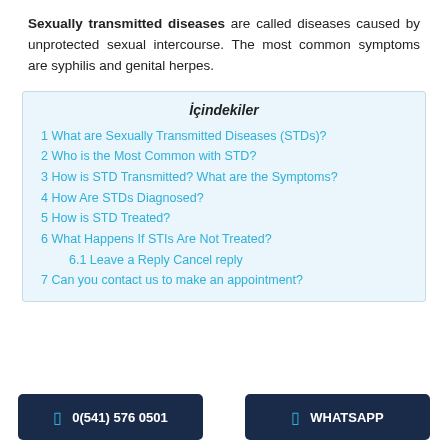Sexually transmitted diseases are called diseases caused by unprotected sexual intercourse. The most common symptoms are syphilis and genital herpes.
İçindekiler
1 What are Sexually Transmitted Diseases (STDs)?
2 Who is the Most Common with STD?
3 How is STD Transmitted? What are the Symptoms?
4 How Are STDs Diagnosed?
5 How is STD Treated?
6 What Happens If STIs Are Not Treated?
6.1 Leave a Reply Cancel reply
7 Can you contact us to make an appointment?
0(541) 576 0501
WHATSAPP